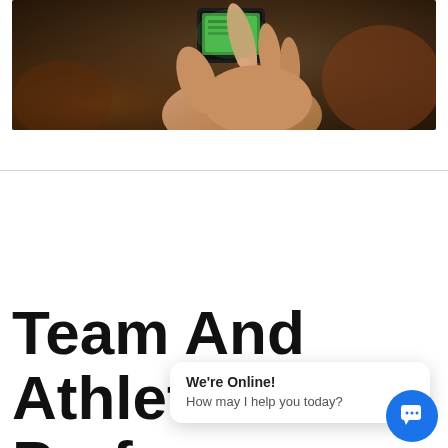[Figure (photo): A hand holding a smartphone with a green screen, photographed in a warm, dark indoor setting.]
Team And Athlete Perfor
We're Online! How may I help you today?